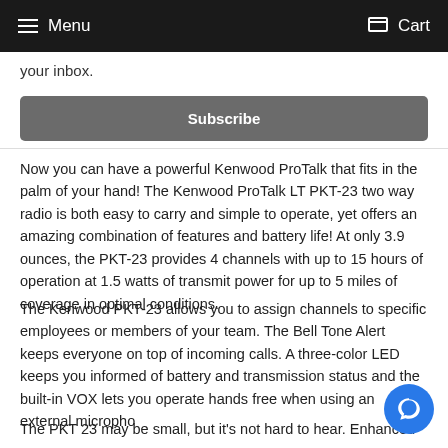Menu  Cart
your inbox.
Subscribe
Now you can have a powerful Kenwood ProTalk that fits in the palm of your hand! The Kenwood ProTalk LT PKT-23 two way radio is both easy to carry and simple to operate, yet offers an amazing combination of features and battery life! At only 3.9 ounces, the PKT-23 provides 4 channels with up to 15 hours of operation at 1.5 watts of transmit power for up to 5 miles of coverage in optimal conditions.
The Kenwood PKT-23 allows you to assign channels to specific employees or members of your team. The Bell Tone Alert keeps everyone on top of incoming calls. A three-color LED keeps you informed of battery and transmission status and the built-in VOX lets you operate hands free when using an external micropho
The PKT 23 may be small, but it's not hard to hear. Enhanced